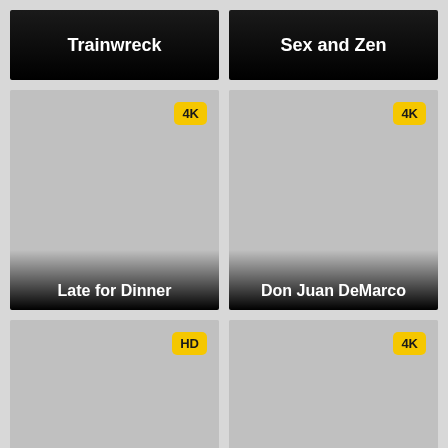[Figure (screenshot): Movie card header with dark gradient background showing title 'Trainwreck']
[Figure (screenshot): Movie card header with dark gradient background showing title 'Sex and Zen']
[Figure (screenshot): Movie poster placeholder for 'Late for Dinner' with 4K badge]
[Figure (screenshot): Movie poster placeholder for 'Don Juan DeMarco' with 4K badge]
[Figure (screenshot): Movie poster placeholder with HD badge, no title visible]
[Figure (screenshot): Movie poster placeholder with 4K badge, no title visible]